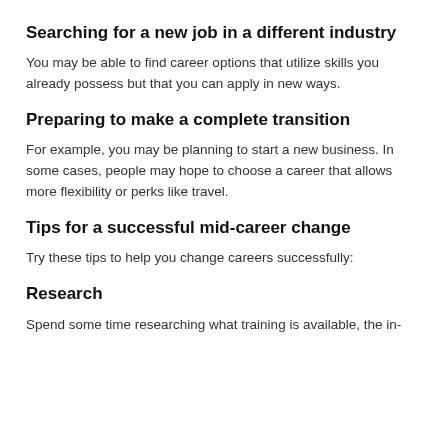Searching for a new job in a different industry
You may be able to find career options that utilize skills you already possess but that you can apply in new ways.
Preparing to make a complete transition
For example, you may be planning to start a new business. In some cases, people may hope to choose a career that allows more flexibility or perks like travel.
Tips for a successful mid-career change
Try these tips to help you change careers successfully:
Research
Spend some time researching what training is available, the in-